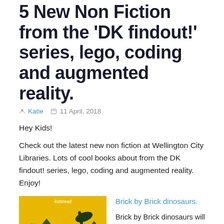5 New Non Fiction from the 'DK findout!' series, lego, coding and augmented reality.
Katie   11 April, 2018
Hey Kids!
Check out the latest new non fiction at Wellington City Libraries. Lots of cool books about from the DK findout! series, lego, coding and augmented reality. Enjoy!
[Figure (photo): Book cover of 'Brick by Brick Dinosaurs' - yellow and green background with dinosaur silhouettes and lego bricks]
Brick by Brick dinosaurs.
Brick by Brick dinosaurs will teach you how to build more that